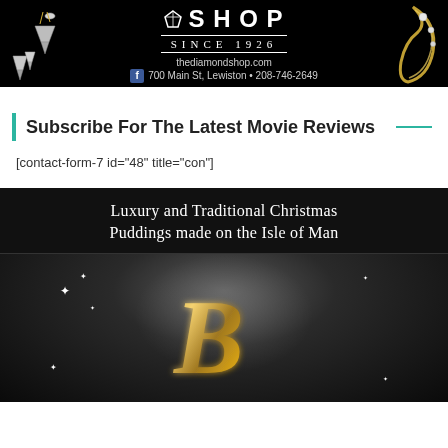[Figure (photo): Advertisement banner for The Diamond Shop, established since 1926. Dark/black background with jewelry images (diamond earrings on left, gold ring on right). Shows logo text, website thediamondshop.com, address 700 Main St, Lewiston, phone 208-746-2649, and Facebook icon.]
Subscribe For The Latest Movie Reviews
[contact-form-7 id="48" title="con"]
[Figure (photo): Advertisement banner with black background. Top portion shows text 'Luxury and Traditional Christmas Puddings made on the Isle of Man'. Bottom portion shows a large ornate gold letter 'B' in italic script with sparkle/light effects on dark background.]